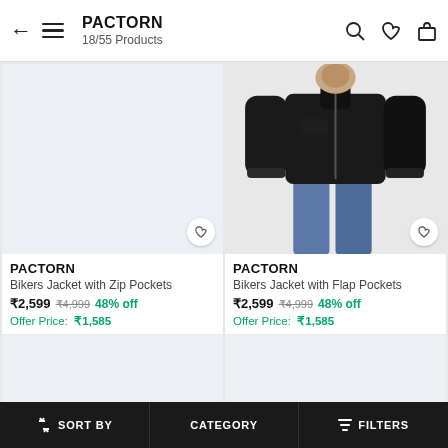PACTORN — 18/55 Products
[Figure (photo): Blank light-blue product image placeholder with a heart wishlist button in bottom-right corner]
[Figure (photo): Man wearing black leather biker jacket with zip, blue jeans, white background, heart wishlist button in bottom-right corner]
PACTORN
Bikers Jacket with Zip Pockets
₹2,599  ₹4,999  48% off
Offer Price:  ₹1,585
PACTORN
Bikers Jacket with Flap Pockets
₹2,599  ₹4,999  48% off
Offer Price:  ₹1,585
[Figure (photo): Partial blank light-blue product image placeholder (bottom, left)]
[Figure (photo): Partial blank light-blue product image placeholder (bottom, right)]
↑↓ SORT BY   CATEGORY   ≡ FILTERS